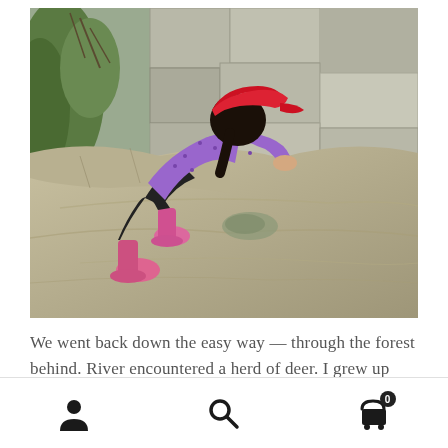[Figure (photo): A young girl wearing a red cap, purple long-sleeve shirt, black leggings, and pink boots, climbing up a large granite rock face outdoors. Green shrubs and more rocks are visible in the background.]
We went back down the easy way — through the forest behind. River encountered a herd of deer. I grew up with
Navigation icons: user/account, search, cart (0)